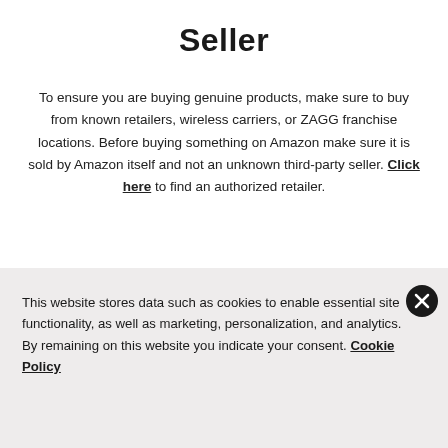Seller
To ensure you are buying genuine products, make sure to buy from known retailers, wireless carriers, or ZAGG franchise locations. Before buying something on Amazon make sure it is sold by Amazon itself and not an unknown third-party seller. Click here to find an authorized retailer.
This website stores data such as cookies to enable essential site functionality, as well as marketing, personalization, and analytics. By remaining on this website you indicate your consent. Cookie Policy